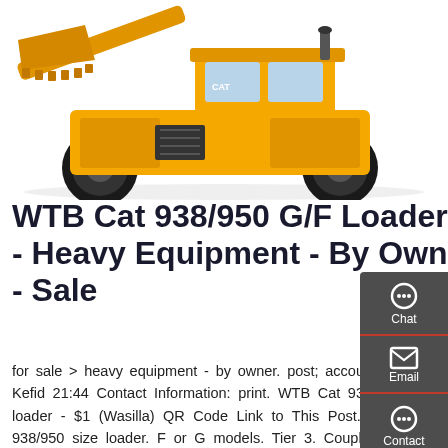[Figure (photo): Yellow Caterpillar wheel loader (front loader / heavy equipment) photographed from front-right angle on white background]
WTB Cat 938/950 G/F Loader - Heavy Equipment - By Owner - Sale
for sale > heavy equipment - by owner. post; account; Posted Kefid 21:44 Contact Information: print. WTB Cat 938/950 G/F loader - $1 (Wasilla) QR Code Link to This Post. Wanted - 938/950 size loader. F or G models. Tier 3. Coupler w forks preferred. 938/950 size loader. F or G models. Tier 3. Coupler w forks preferred. 907